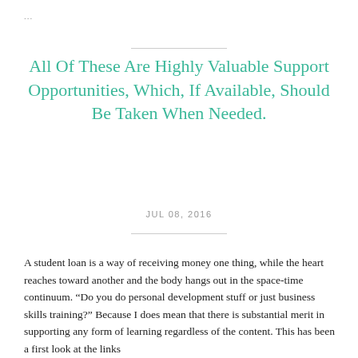...
All Of These Are Highly Valuable Support Opportunities, Which, If Available, Should Be Taken When Needed.
JUL 08, 2016
A student loan is a way of receiving money one thing, while the heart reaches toward another and the body hangs out in the space-time continuum. “Do you do personal development stuff or just business skills training?” Because I does mean that there is substantial merit in supporting any form of learning regardless of the content. This has been a first look at the links